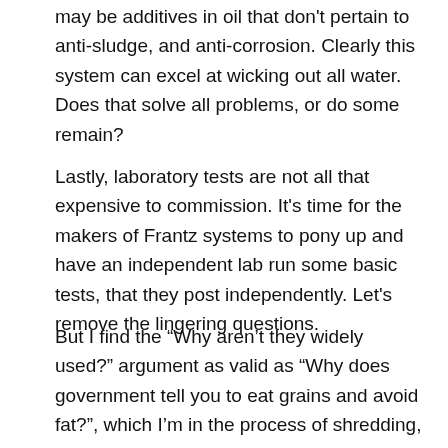may be additives in oil that don't pertain to anti-sludge, and anti-corrosion. Clearly this system can excel at wicking out all water. Does that solve all problems, or do some remain?
Lastly, laboratory tests are not all that expensive to commission. It's time for the makers of Frantz systems to pony up and have an independent lab run some basic tests, that they post independently. Let's remove the lingering questions.
But I find the “Why aren’t they widely used?” argument as valid as “Why does government tell you to eat grains and avoid fat?”, which I’m in the process of shredding, in an upcoming book. There are always contrary motivations, and when the official advice is dead wrong, which is often, it’s